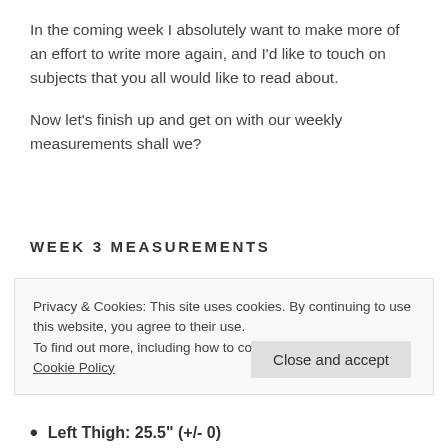In the coming week I absolutely want to make more of an effort to write more again, and I'd like to touch on subjects that you all would like to read about.
Now let's finish up and get on with our weekly measurements shall we?
WEEK 3 MEASUREMENTS
Privacy & Cookies: This site uses cookies. By continuing to use this website, you agree to their use.
To find out more, including how to control cookies, see here: Cookie Policy
Left Thigh: 25.5" (+/- 0)